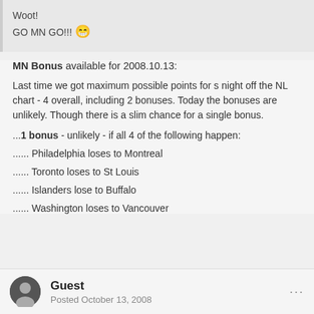Woot!
GO MN GO!!! 😁
MN Bonus available for 2008.10.13:
Last time we got maximum possible points for s night off the NL chart - 4 overall, including 2 bonuses. Today the bonuses are unlikely. Though there is a slim chance for a single bonus.
...1 bonus - unlikely - if all 4 of the following happen:
...... Philadelphia loses to Montreal
...... Toronto loses to St Louis
...... Islanders lose to Buffalo
...... Washington loses to Vancouver
Guest
Posted October 13, 2008